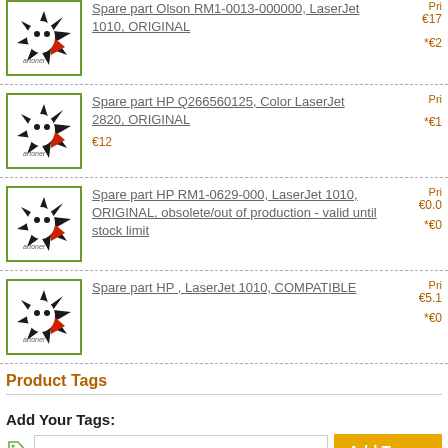Spare part Olson RM1-0013-000000, LaserJet 1010, ORIGINAL
Spare part HP Q266560125, Color LaserJet 2820, ORIGINAL
Spare part HP RM1-0629-000, LaserJet 1010, ORIGINAL, obsolete/out of production - valid until stock limit
Spare part HP , LaserJet 1010, COMPATIBLE
Product Tags
Add Your Tags:
Use spaces to separate tags. Use single quotes (') for phrases.